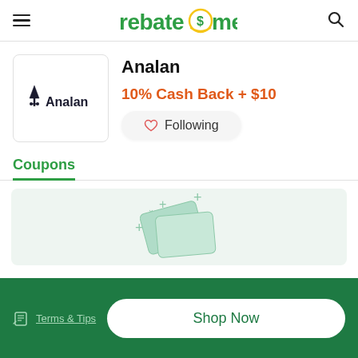rebate$me
Analan
10% Cash Back + $10
Following
Coupons
[Figure (illustration): Coupon cards illustration with plus signs on light green background]
Terms & Tips
Shop Now